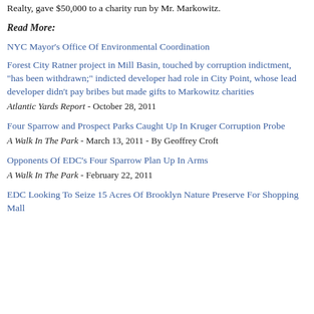Realty, gave $50,000 to a charity run by Mr. Markowitz.
Read More:
NYC Mayor's Office Of Environmental Coordination
Forest City Ratner project in Mill Basin, touched by corruption indictment, "has been withdrawn;" indicted developer had role in City Point, whose lead developer didn't pay bribes but made gifts to Markowitz charities
Atlantic Yards Report - October 28, 2011
Four Sparrow and Prospect Parks Caught Up In Kruger Corruption Probe
A Walk In The Park - March 13, 2011 - By Geoffrey Croft
Opponents Of EDC's Four Sparrow Plan Up In Arms
A Walk In The Park - February 22, 2011
EDC Looking To Seize 15 Acres Of Brooklyn Nature Preserve For Shopping Mall